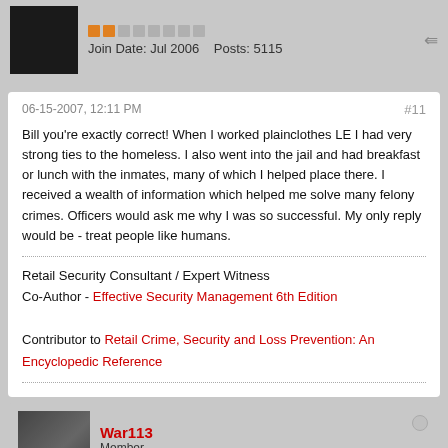Join Date: Jul 2006   Posts: 5115
06-15-2007, 12:11 PM   #11
Bill you're exactly correct! When I worked plainclothes LE I had very strong ties to the homeless. I also went into the jail and had breakfast or lunch with the inmates, many of which I helped place there. I received a wealth of information which helped me solve many felony crimes. Officers would ask me why I was so successful. My only reply would be - treat people like humans.
Retail Security Consultant / Expert Witness
Co-Author - Effective Security Management 6th Edition

Contributor to Retail Crime, Security and Loss Prevention: An Encyclopedic Reference
War113   Member   Join Date: Jun 2007   Posts: 248